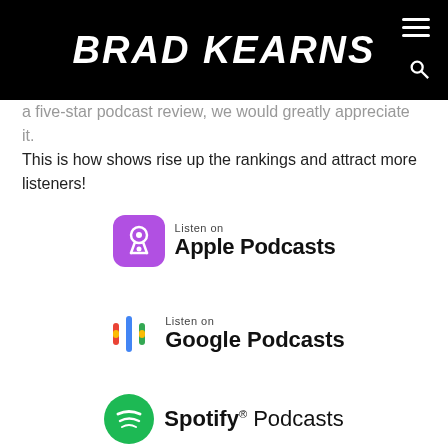BRAD KEARNS
...a five-star podcast review, we would greatly appreciate it. This is how shows rise up the rankings and attract more listeners!
[Figure (logo): Listen on Apple Podcasts badge with purple podcast icon]
[Figure (logo): Listen on Google Podcasts badge with colorful microphone icon]
[Figure (logo): Spotify Podcasts badge with green Spotify logo]